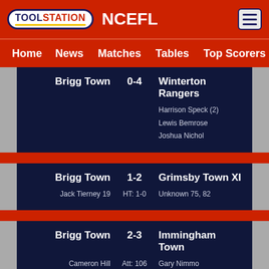TOOLSTATION NCEFL
Home  News  Matches  Tables  Top Scorers  Sta
| Home | Score | Away | Scorers Home | Scorers Away |
| --- | --- | --- | --- | --- |
| Brigg Town | 0-4 | Winterton Rangers |  | Harrison Speck (2), Lewis Bemrose, Joshua Nichol |
| Brigg Town | 1-2 | Grimsby Town XI | Jack Tierney 19 | Unknown 75, 82 |
| Brigg Town | 2-3 | Immingham Town | Cameron Hill, Jack Boswell | Gary Nimmo, Ben Cook, Liam Vanderweele |